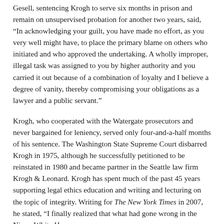Gesell, sentencing Krogh to serve six months in prison and remain on unsupervised probation for another two years, said, “In acknowledging your guilt, you have made no effort, as you very well might have, to place the primary blame on others who initiated and who approved the undertaking. A wholly improper, illegal task was assigned to you by higher authority and you carried it out because of a combination of loyalty and I believe a degree of vanity, thereby compromising your obligations as a lawyer and a public servant.”
Krogh, who cooperated with the Watergate prosecutors and never bargained for leniency, served only four-and-a-half months of his sentence. The Washington State Supreme Court disbarred Krogh in 1975, although he successfully petitioned to be reinstated in 1980 and became partner in the Seattle law firm Krogh & Leonard. Krogh has spent much of the past 45 years supporting legal ethics education and writing and lecturing on the topic of integrity. Writing for The New York Times in 2007, he stated, “I finally realized that what had gone wrong in the Nixon White House was a